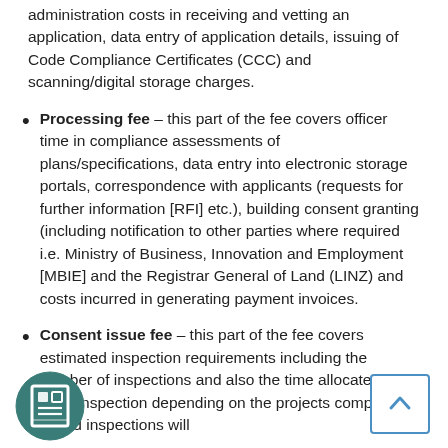administration costs in receiving and vetting an application, data entry of application details, issuing of Code Compliance Certificates (CCC) and scanning/digital storage charges.
Processing fee – this part of the fee covers officer time in compliance assessments of plans/specifications, data entry into electronic storage portals, correspondence with applicants (requests for further information [RFI] etc.), building consent granting (including notification to other parties where required i.e. Ministry of Business, Innovation and Employment [MBIE] and the Registrar General of Land (LINZ) and costs incurred in generating payment invoices.
Consent issue fee – this part of the fee covers estimated inspection requirements including the number of inspections and also the time allocated for each inspection depending on the projects complexity. (failed inspections will
[Figure (illustration): Teal circle with a building/document icon in the center, used as a navigation icon]
[Figure (other): Up arrow navigation button in a blue-bordered square]